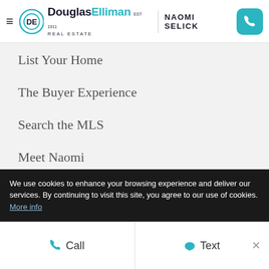[Figure (logo): Douglas Elliman Real Estate logo with teal circle DE icon, alongside agent name NAOMI SELICK and teal phone button]
List Your Home
The Buyer Experience
Search the MLS
Meet Naomi
Client Success Stories
Read My Blog
We use cookies to enhance your browsing experience and deliver our services. By continuing to visit this site, you agree to our use of cookies. More info
Call   Text